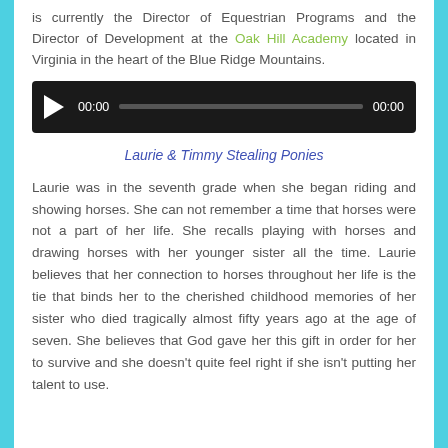is currently the Director of Equestrian Programs and the Director of Development at the Oak Hill Academy located in Virginia in the heart of the Blue Ridge Mountains.
[Figure (other): Audio player widget with play button, time display showing 00:00, progress bar, and end time 00:00 on a dark background.]
Laurie & Timmy Stealing Ponies
Laurie was in the seventh grade when she began riding and showing horses. She can not remember a time that horses were not a part of her life. She recalls playing with horses and drawing horses with her younger sister all the time. Laurie believes that her connection to horses throughout her life is the tie that binds her to the cherished childhood memories of her sister who died tragically almost fifty years ago at the age of seven. She believes that God gave her this gift in order for her to survive and she doesn't quite feel right if she isn't putting her talent to use.